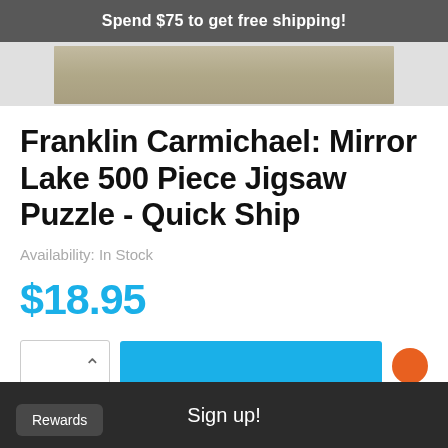Spend $75 to get free shipping!
[Figure (photo): Partial product image of puzzle box visible at top]
Franklin Carmichael: Mirror Lake 500 Piece Jigsaw Puzzle - Quick Ship
Availability: In Stock
$18.95
Sign up!